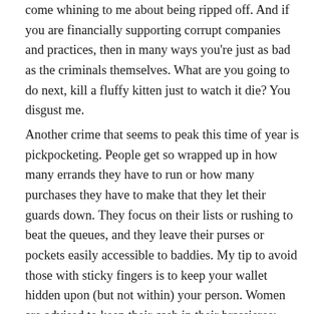come whining to me about being ripped off. And if you are financially supporting corrupt companies and practices, then in many ways you're just as bad as the criminals themselves. What are you going to do next, kill a fluffy kitten just to watch it die? You disgust me.
Another crime that seems to peak this time of year is pickpocketing. People get so wrapped up in how many errands they have to run or how many purchases they have to make that they let their guards down. They focus on their lists or rushing to beat the queues, and they leave their purses or pockets easily accessible to baddies. My tip to avoid those with sticky fingers is to keep your wallet hidden upon (but not within) your person. Women are advised to keep their cash in their brassieres; men should tuck it discreetly into the pockets of their Y-fronts. Yes, it may be uncomfortable and possibly awkward at the till, but